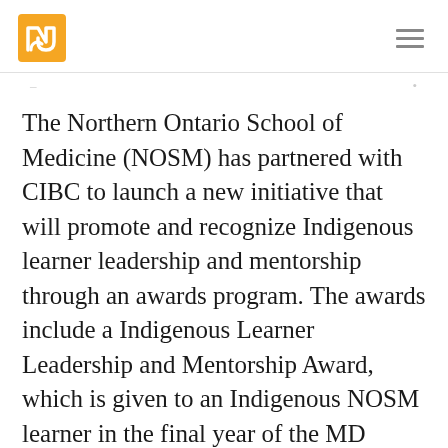[Logo] [Menu]
The Northern Ontario School of Medicine (NOSM) has partnered with CIBC to launch a new initiative that will promote and recognize Indigenous learner leadership and mentorship through an awards program. The awards include a Indigenous Learner Leadership and Mentorship Award, which is given to an Indigenous NOSM learner in the final year of the MD program who plans to return to a